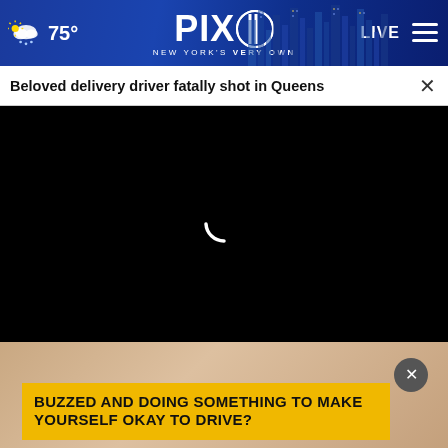75° PIX11 NEW YORK'S VERY OWN LIVE
Beloved delivery driver fatally shot in Queens
[Figure (screenshot): Black video player loading screen with white spinner arc in center]
[Figure (photo): Close-up of a human hand/palm against skin-toned background]
BUZZED AND DOING SOMETHING TO MAKE YOURSELF OKAY TO DRIVE?